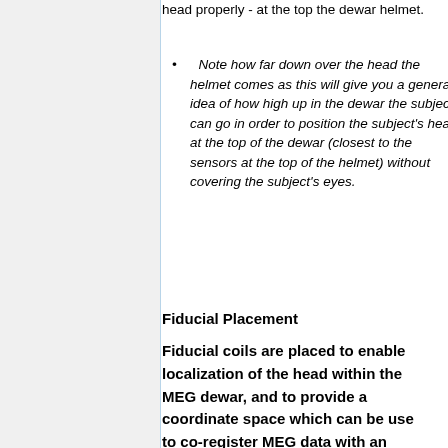head properly - at the top the dewar helmet.
Note how far down over the head the helmet comes as this will give you a general idea of how high up in the dewar the subject can go in order to position the subject's head at the top of the dewar (closest to the sensors at the top of the helmet) without covering the subject's eyes.
Fiducial Placement
Fiducial coils are placed to enable localization of the head within the MEG dewar, and to provide a coordinate space which can be use to co-register MEG data with an